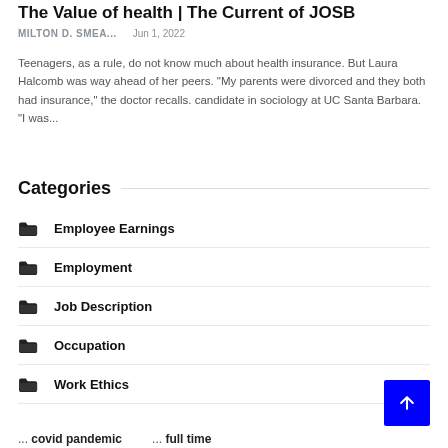The Value of health | The Current of JOSB
MILTON D. SMEA...    Jun 1, 2022
Teenagers, as a rule, do not know much about health insurance. But Laura Halcomb was way ahead of her peers. "My parents were divorced and they both had insurance," the doctor recalls. candidate in sociology at UC Santa Barbara. “I was...
Categories
Employee Earnings
Employment
Job Description
Occupation
Work Ethics
covid pandemic    full time